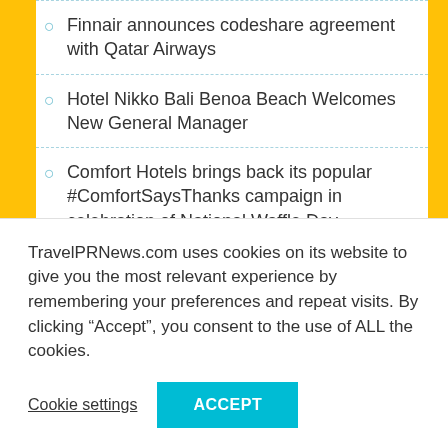Finnair announces codeshare agreement with Qatar Airways
Hotel Nikko Bali Benoa Beach Welcomes New General Manager
Comfort Hotels brings back its popular #ComfortSaysThanks campaign in celebration of National Waffle Day
Four Seasons Hotel New Orleans announces the promotion of Christopher Jordan to Hotel Manager
Four Seasons Hotel Las Vegas sponsors inaugural Chefs for Kids breakfast program for 2022-2023
TravelPRNews.com uses cookies on its website to give you the most relevant experience by remembering your preferences and repeat visits. By clicking “Accept”, you consent to the use of ALL the cookies.
Cookie settings
ACCEPT